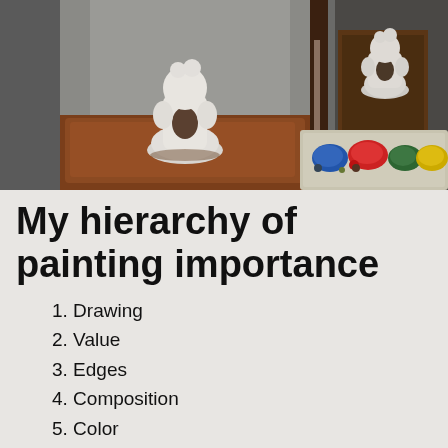[Figure (photo): Photo of a white ceramic meditation figure/statue sitting on a brown leather surface on the left side, and its reflection or another view in a mirror on the right side, with a paint palette showing blue, red, green, and yellow paint swatches in the foreground bottom right.]
My hierarchy of painting importance
1. Drawing
2. Value
3. Edges
4. Composition
5. Color